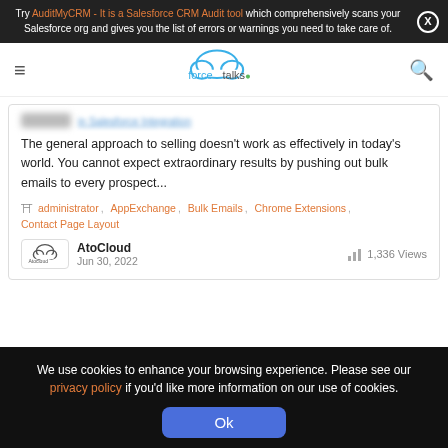Try AuditMyCRM - It is a Salesforce CRM Audit tool which comprehensively scans your Salesforce org and gives you the list of errors or warnings you need to take care of.
[Figure (logo): forcetalks logo with cloud icon]
The general approach to selling doesn't work as effectively in today's world. You cannot expect extraordinary results by pushing out bulk emails to every prospect...
administrator, AppExchange, Bulk Emails, Chrome Extensions, Contact Page Layout
AtoCloud
Jun 30, 2022
1,336 Views
We use cookies to enhance your browsing experience. Please see our privacy policy if you'd like more information on our use of cookies. Ok